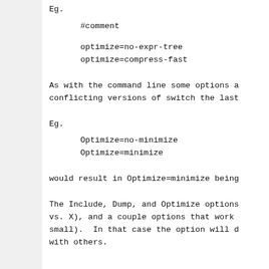Eg.
#comment
optimize=no-expr-tree
optimize=compress-fast
As with the command line some options a conflicting versions of switch the last
Eg.
Optimize=no-minimize
Optimize=minimize
would result in Optimize=minimize being
The Include, Dump, and Optimize options vs. X), and a couple options that work small).  In that case the option will d with others.